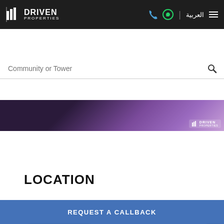DRIVEN PROPERTIES — navigation bar with logo, phone, WhatsApp, Arabic, menu
Community or Tower — search bar placeholder
[Figure (photo): Hero image strip showing purple/mauve geometric design with Driven Properties watermark logo]
LOCATION
[Figure (map): Google Maps view showing Meydan City area in Dubai with Map/Satellite toggle, E44 and E66 road labels, Dubai Design District label, Meydan Bridge label, a red location pin dropped in the area, and a WhatsApp floating action button]
REQUEST A CALLBACK